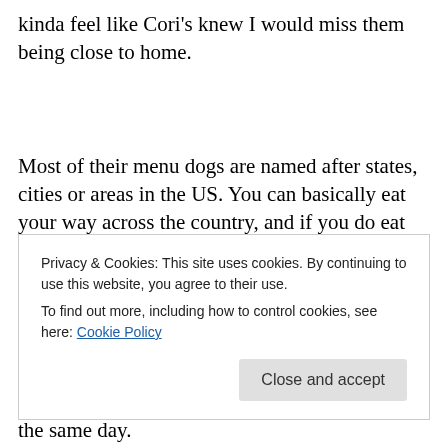kinda feel like Cori's knew I would miss them being close to home.
Most of their menu dogs are named after states, cities or areas in the US. You can basically eat your way across the country, and if you do eat one of each (and get your card marked), you can be added to the Wall of Wieners at either location. Seriously! David and I have been slowly
Privacy & Cookies: This site uses cookies. By continuing to use this website, you agree to their use.
To find out more, including how to control cookies, see here: Cookie Policy
the same day.